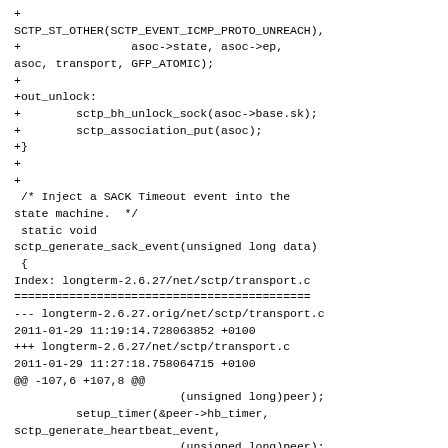+
SCTP_ST_OTHER(SCTP_EVENT_ICMP_PROTO_UNREACH),
+                asoc->state, asoc->ep,
asoc, transport, GFP_ATOMIC);
+
+out_unlock:
+        sctp_bh_unlock_sock(asoc->base.sk);
+        sctp_association_put(asoc);
+}
+
+
 /* Inject a SACK Timeout event into the
state machine.  */
 static void
sctp_generate_sack_event(unsigned long data)
 {
Index: longterm-2.6.27/net/sctp/transport.c
======================================================
--- longterm-2.6.27.orig/net/sctp/transport.c
2011-01-29 11:19:14.728063852 +0100
+++ longterm-2.6.27/net/sctp/transport.c
2011-01-29 11:27:18.758064715 +0100
@@ -107,6 +107,8 @@
                            (unsigned long)peer);
          setup_timer(&peer->hb_timer,
sctp_generate_heartbeat_event,
                            (unsigned long)peer);
+          setup_timer(&peer-
>proto_unreach_timer,
+